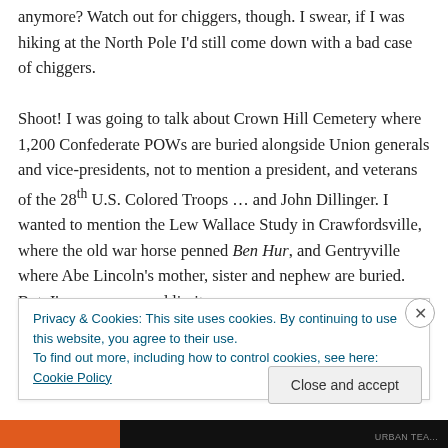anymore? Watch out for chiggers, though. I swear, if I was hiking at the North Pole I'd still come down with a bad case of chiggers.

Shoot! I was going to talk about Crown Hill Cemetery where 1,200 Confederate POWs are buried alongside Union generals and vice-presidents, not to mention a president, and veterans of the 28th U.S. Colored Troops … and John Dillinger. I wanted to mention the Lew Wallace Study in Crawfordsville, where the old war horse penned Ben Hur, and Gentryville where Abe Lincoln's mother, sister and nephew are buried. But, I'm over my word limit
Privacy & Cookies: This site uses cookies. By continuing to use this website, you agree to their use.
To find out more, including how to control cookies, see here: Cookie Policy